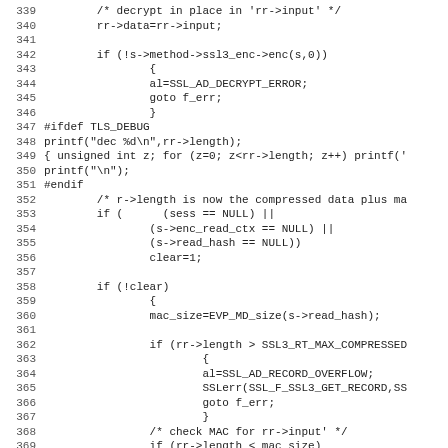Code listing lines 339-370, C source code for SSL record decryption handling